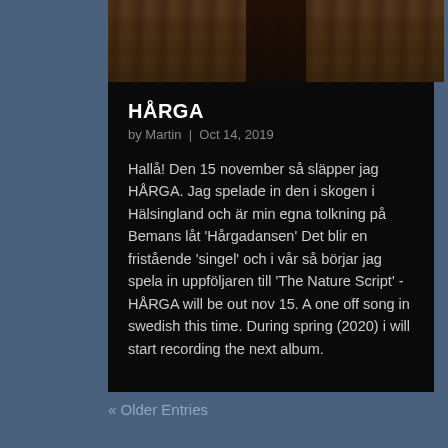[Figure (photo): Dark photo strip showing legs/boots of a person standing in dry grass/forest, cropped at top]
HÅRGA
by Martin | Oct 14, 2019
Hallå! Den 15 november så släpper jag HÅRGA. Jag spelade in den i skogen i Hälsingland och är min egna tolkning på Bemans låt 'Hårgadansen' Det blir en fristående 'singel' och i vår så börjar jag spela in uppföljaren till 'The Nature Script' - HÅRGA will be out nov 15. A one off song in swedish this time. During spring (2020) i will start recording the next album.
« Older Entries